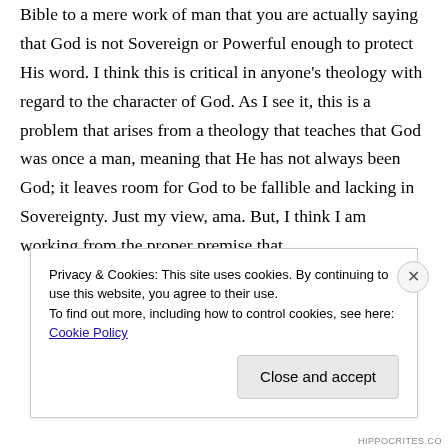Bible to a mere work of man that you are actually saying that God is not Sovereign or Powerful enough to protect His word. I think this is critical in anyone's theology with regard to the character of God. As I see it, this is a problem that arises from a theology that teaches that God was once a man, meaning that He has not always been God; it leaves room for God to be fallible and lacking in Sovereignty. Just my view, ama. But, I think I am working from the proper premise that
Privacy & Cookies: This site uses cookies. By continuing to use this website, you agree to their use.
To find out more, including how to control cookies, see here: Cookie Policy
HIPPOCRITES.CO